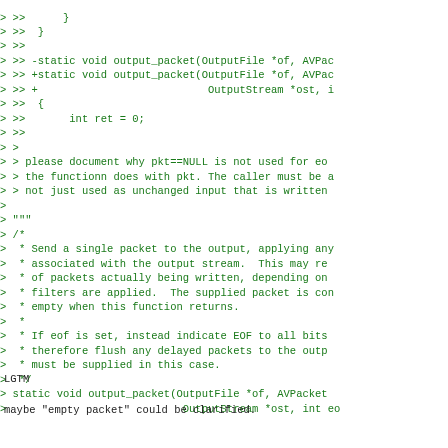> >>      }
> >>  }
> >>
> >> -static void output_packet(OutputFile *of, AVPac
> >> +static void output_packet(OutputFile *of, AVPac
> >> +                           OutputStream *ost, i
> >>  {
> >>       int ret = 0;
> >>
> >
> > please document why pkt==NULL is not used for eo
> > the functionn does with pkt. The caller must be a
> > not just used as unchanged input that is written
>
> """
> /*
>  * Send a single packet to the output, applying any
>  * associated with the output stream.  This may re
>  * of packets actually being written, depending on
>  * filters are applied.  The supplied packet is con
>  * empty when this function returns.
>  *
>  * If eof is set, instead indicate EOF to all bits
>  * therefore flush any delayed packets to the outp
>  * must be supplied in this case.
>  */
> static void output_packet(OutputFile *of, AVPacket
>                            OutputStream *ost, int eo
LGTM
maybe "empty packet" could be clarified.